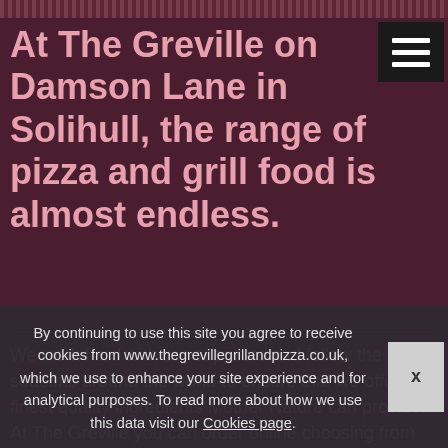At The Greville on Damson Lane in Solihull, the range of pizza and grill food is almost endless.
We work hard with our suppliers and follow the seasons around the world to ensure that we offer the finest quality ingredients Mother Nature can provide. At The Greville you can order online choosing from pizzas, kebab,
By continuing to use this site you agree to receive cookies from www.thegrevillegrillandpizza.co.uk, which we use to enhance your site experience and for analytical purposes. To read more about how we use this data visit our Cookies page.